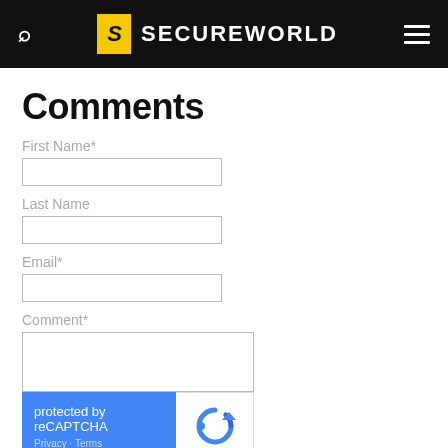SECUREWORLD
Comments
First Name*
Last Name
Email*
Comment*
[Figure (screenshot): reCAPTCHA widget: blue left panel with 'protected by reCAPTCHA' text and Privacy/Terms links; white right panel with reCAPTCHA logo]
Submit Comment